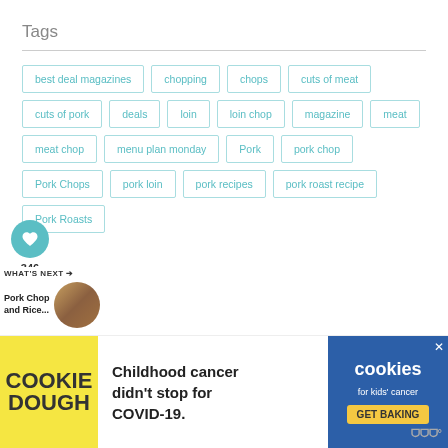Tags
best deal magazines
chopping
chops
cuts of meat
cuts of pork
deals
loin
loin chop
magazine
meat
meat chop
menu plan monday
Pork
pork chop
Pork Chops
pork loin
pork recipes
pork roast recipe
Pork Roasts
[Figure (infographic): Cookie Dough advertisement banner: 'Childhood cancer didn't stop for COVID-19. GET BAKING' with cookies for kids' cancer logo]
346
WHAT'S NEXT → Pork Chop and Rice...